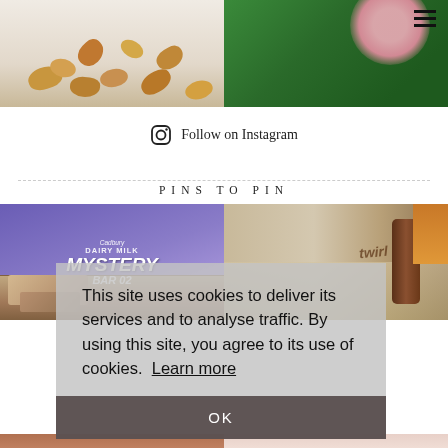[Figure (photo): Two Instagram photos: left shows nuts/cashews on light background, right shows pink flower with green leaves]
Follow on Instagram
PINS TO PIN
[Figure (photo): Cadbury Dairy Milk Mystery Bar packaging and chocolate pieces on white marble surface]
[Figure (photo): Twirl chocolate bar on wooden surface with Cadbury wrapper]
This site uses cookies to deliver its services and to analyse traffic. By using this site, you agree to its use of cookies.  Learn more
OK
[Figure (photo): Bottom row partial images - two more pin images partially visible]